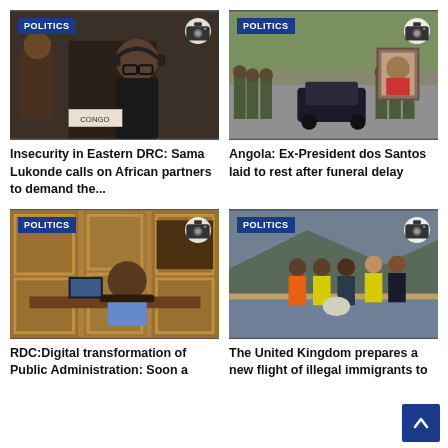[Figure (photo): Man with headphones at conference table with CONGO nameplate, POLITICS badge]
Insecurity in Eastern DRC: Sama Lukonde calls on African partners to demand the...
[Figure (photo): Military funeral procession with car and soldiers carrying portrait, POLITICS badge]
Angola: Ex-President dos Santos laid to rest after funeral delay
[Figure (photo): Official seated at desk in ornate office, POLITICS badge]
RDC:Digital transformation of Public Administration: Soon a
[Figure (photo): People in high-visibility vests at what appears to be a port/border, POLITICS badge]
The United Kingdom prepares a new flight of illegal immigrants to